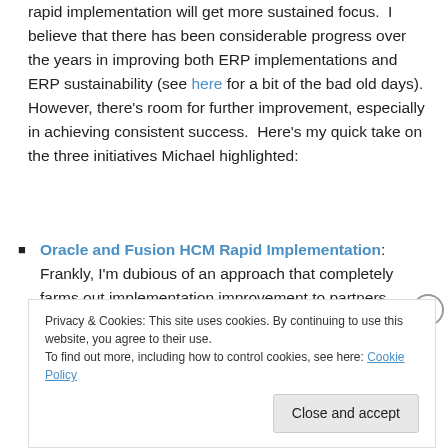rapid implementation will get more sustained focus. I believe that there has been considerable progress over the years in improving both ERP implementations and ERP sustainability (see here for a bit of the bad old days). However, there's room for further improvement, especially in achieving consistent success. Here's my quick take on the three initiatives Michael highlighted:
Oracle and Fusion HCM Rapid Implementation: Frankly, I'm dubious of an approach that completely farms out implementation improvement to partners.
Privacy & Cookies: This site uses cookies. By continuing to use this website, you agree to their use. To find out more, including how to control cookies, see here: Cookie Policy